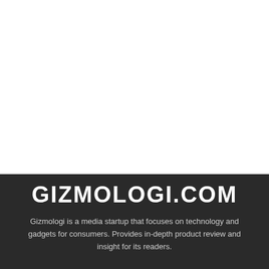[Figure (logo): White blank area occupying the top portion of the page]
GIZMOLOGI.COM
Gizmologi is a media startup that focuses on technology and gadgets for consumers. Provides in-depth product review and insight for its readers.